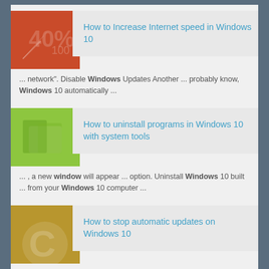[Figure (screenshot): Thumbnail image for article about increasing internet speed in Windows 10 - red/orange background with speedometer graphic]
How to Increase Internet speed in Windows 10
... network". Disable Windows Updates Another ... probably know, Windows 10 automatically ...
[Figure (screenshot): Thumbnail image for article about uninstalling programs in Windows 10 - green background with folder/box graphic]
How to uninstall programs in Windows 10 with system tools
... , a new window will appear ... option. Uninstall Windows 10 built ... from your Windows 10 computer ...
[Figure (screenshot): Thumbnail image for article about stopping automatic updates on Windows 10 - gold/yellow background with Windows logo]
How to stop automatic updates on Windows 10